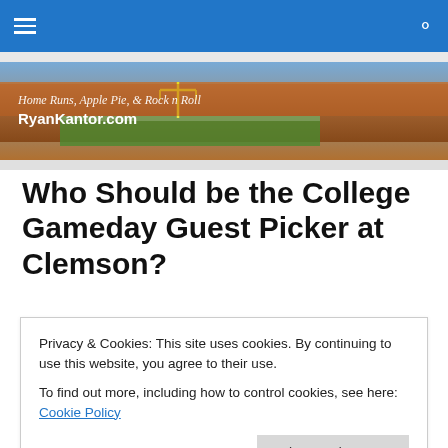Navigation bar with hamburger menu and search icon
[Figure (photo): Website banner for RyanKantor.com with tagline 'Home Runs, Apple Pie, & Rock n Roll' overlaid on a photo of a football stadium packed with orange-clad fans]
Who Should be the College Gameday Guest Picker at Clemson?
Posted by Ryan Kantor
Privacy & Cookies: This site uses cookies. By continuing to use this website, you agree to their use.
To find out more, including how to control cookies, see here: Cookie Policy
Close and accept
fun traditions of the show, a guest picker will likely be